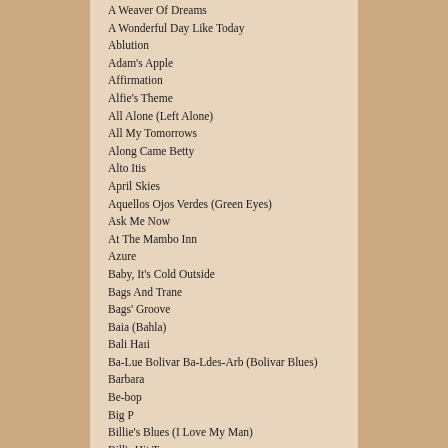A Weaver Of Dreams
A Wonderful Day Like Today
Ablution
Adam's Apple
Affirmation
Alfie's Theme
All Alone (Left Alone)
All My Tomorrows
Along Came Betty
Alto Itis
April Skies
Aquellos Ojos Verdes (Green Eyes)
Ask Me Now
At The Mambo Inn
Azure
Baby, It's Cold Outside
Bags And Trane
Bags' Groove
Baia (Bahla)
Bali Haıi
Ba-Lue Bolivar Ba-Ldes-Arb (Bolivar Blues)
Barbara
Be-bop
Big P
Billie's Blues (I Love My Man)
Bill's Hit Tune
Bird Feathers
Birdland